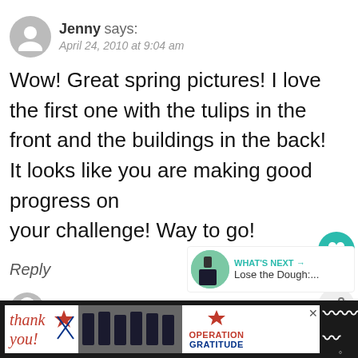[Figure (illustration): Gray circular avatar placeholder with a person silhouette icon]
Jenny says:
April 24, 2010 at 9:04 am
Wow! Great spring pictures! I love the first one with the tulips in the front and the buildings in the back!
It looks like you are making good progress on your challenge! Way to go!
Reply
[Figure (illustration): Teal circular like/heart button]
1
[Figure (illustration): Share button icon]
[Figure (photo): What's Next panel: photo of person plus caption 'Lose the Dough:...']
[Figure (illustration): Gray circular avatar placeholder for next commenter]
[Figure (photo): Ad banner: Thank you message with Operation Gratitude branding and firefighters photo]